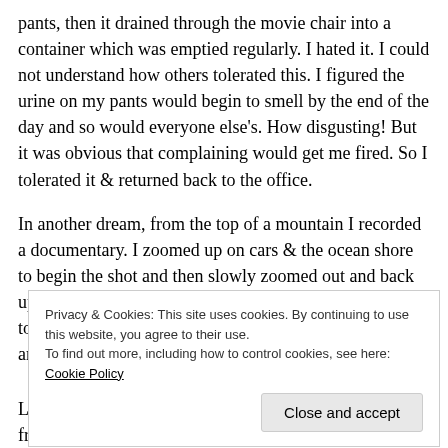pants, then it drained through the movie chair into a container which was emptied regularly. I hated it. I could not understand how others tolerated this. I figured the urine on my pants would begin to smell by the end of the day and so would everyone else's. How disgusting! But it was obvious that complaining would get me fired. So I tolerated it & returned back to the office.
In another dream, from the top of a mountain I recorded a documentary. I zoomed up on cars & the ocean shore to begin the shot and then slowly zoomed out and back up the road which revealed I was kilometres high on the top of a mountain. My mom & sister watched the video and were jealous &
Privacy & Cookies: This site uses cookies. By continuing to use this website, you agree to their use.
To find out more, including how to control cookies, see here: Cookie Policy
Close and accept
Lastly, I was in a crowded space which seemed to be a freight